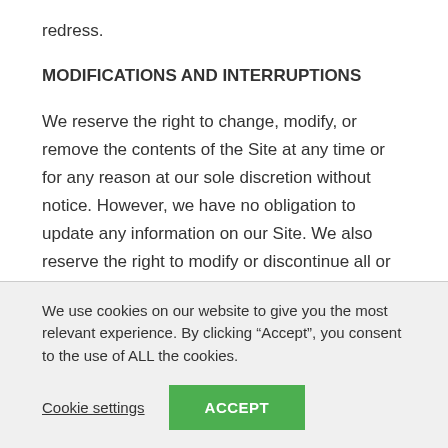redress.
MODIFICATIONS AND INTERRUPTIONS
We reserve the right to change, modify, or remove the contents of the Site at any time or for any reason at our sole discretion without notice. However, we have no obligation to update any information on our Site. We also reserve the right to modify or discontinue all or part of the Site without notice at any time. We will not be liable to you or any third party for any modification, price change, suspension, or discontinuance of the Site.
We use cookies on our website to give you the most relevant experience. By clicking “Accept”, you consent to the use of ALL the cookies.
Cookie settings
ACCEPT